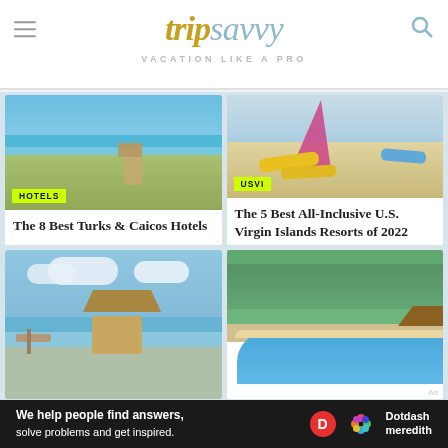tripsavvy — VACATION LIKE A PRO
[Figure (photo): Beach scene with lifeguard tower, turquoise water, and sea oats. Badge: HOTELS]
The 8 Best Turks & Caicos Hotels
[Figure (photo): Colorful sailboats and kayaks on a sandy Caribbean beach. Badge: USVI]
The 5 Best All-Inclusive U.S. Virgin Islands Resorts of 2022
[Figure (photo): Tropical beach dock with thatched hut]
[Figure (photo): Aerial view of a tropical resort with pool and lush trees]
Ad
We help people find answers, solve problems and get inspired. Dotdash meredith